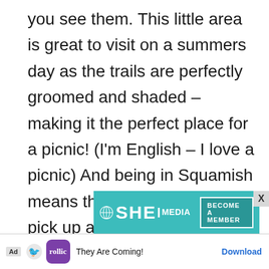you see them. This little area is great to visit on a summers day as the trails are perfectly groomed and shaded – making it the perfect place for a picnic! (I'm English – I love a picnic) And being in Squamish means the perfect place to pick up any groceries (I.E cheaper than Whistler) or snacks for the remainder of your journey. If you decide not to picnic at Shannon Falls, there are plenty of other places further afield to do so!
[Figure (screenshot): SHE Media advertisement banner with teal background and 'BECOME A MEMBER' button, plus a mobile ad for Rollic game 'They Are Coming!' with Download link]